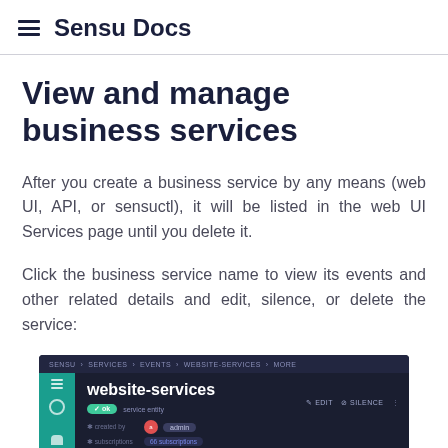≡ Sensu Docs
View and manage business services
After you create a business service by any means (web UI, API, or sensuctl), it will be listed in the web UI Services page until you delete it.
Click the business service name to view its events and other related details and edit, silence, or delete the service:
[Figure (screenshot): Screenshot of Sensu web UI showing a business service detail page for 'website-services' with service entity badge, created by admin, and subscriptions displayed.]